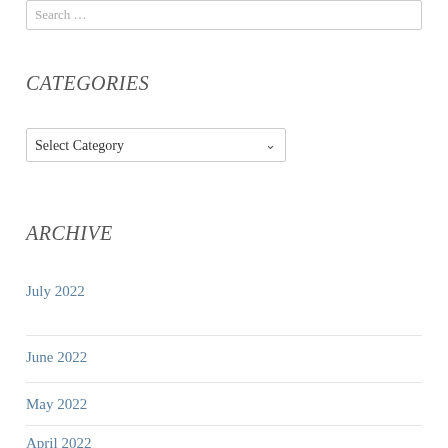Search ...
CATEGORIES
Select Category
ARCHIVE
July 2022
June 2022
May 2022
April 2022